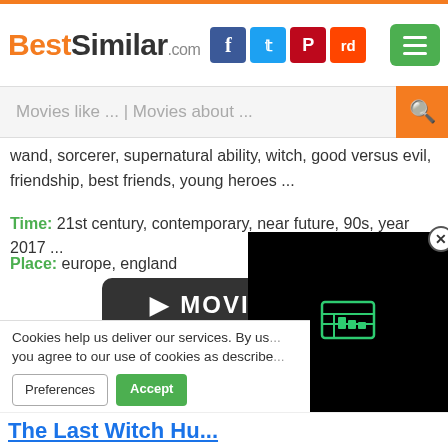BestSimilar.com
wand, sorcerer, supernatural ability, witch, good versus evil, friendship, best friends, young heroes ...
Time: 21st century, contemporary, near future, 90s, year 2017 ...
Place: europe, england
[Figure (other): Dark rounded rectangle button with play arrows and text MOVIE]
Is relevant ?
Yes (thumbs up button)
Cookies help us deliver our services. By us... you agree to our use of cookies as describe...
Preferences  Accept
[Figure (screenshot): Black video player overlay with chart icon, close button]
The Last Witch Hu...